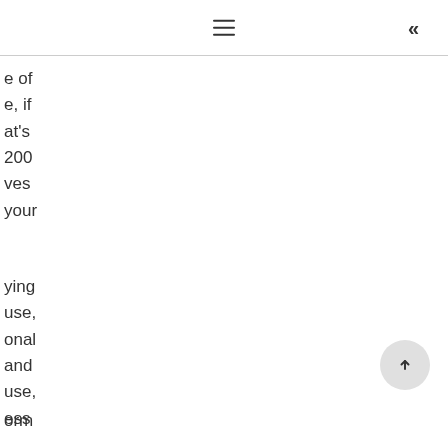≡  «
e of
e, if
at's
200
ves
your
ying
use,
onal
and
use,
ess
orm